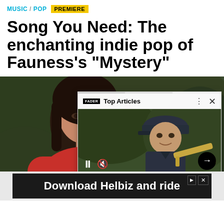MUSIC / POP  PREMIERE
Song You Need: The enchanting indie pop of Fauness’s “Mystery”
[Figure (photo): Composite image: background shows a young woman with dark hair and red top outdoors near trees; overlaid is a card showing a person with a cap holding a trumpet, with playback controls, FADER logo, 'Top Articles' label, and article text 'Avant-garde trumpeter Jaimie branch dies at 39']
Avant-garde trumpeter Jaimie branch dies at 39
Download Helbiz and ride